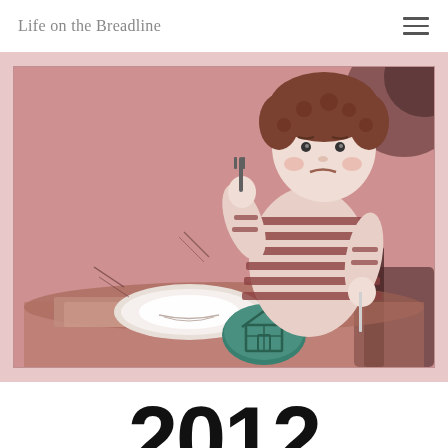Life on the Breadline
[Figure (illustration): Illustrated drawing of a young boy with curly hair wearing a striped shirt, sitting at a table holding a fork and knife, with an empty white plate in front of him. A teal/green circular object with a house symbol is on the table. The background is rendered in pink/red tones with a sketchy, hand-drawn style.]
2012